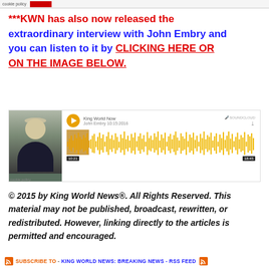cookie policy
***KWN has also now released the extraordinary interview with John Embry and you can listen to it by CLICKING HERE OR ON THE IMAGE BELOW.
[Figure (screenshot): SoundCloud audio widget showing a John Embry interview from King World News dated 10:15:2016, with a waveform visualization in gold/yellow colors, a play button, and a photo of an older man in a suit.]
© 2015 by King World News®. All Rights Reserved. This material may not be published, broadcast, rewritten, or redistributed.  However, linking directly to the articles is permitted and encouraged.
SUBSCRIBE TO - KING WORLD NEWS: BREAKING NEWS - RSS FEED